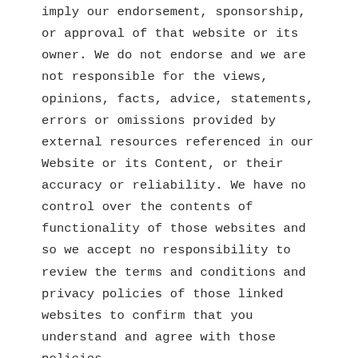imply our endorsement, sponsorship, or approval of that website or its owner. We do not endorse and we are not responsible for the views, opinions, facts, advice, statements, errors or omissions provided by external resources referenced in our Website or its Content, or their accuracy or reliability. We have no control over the contents of functionality of those websites and so we accept no responsibility to review the terms and conditions and privacy policies of those linked websites to confirm that you understand and agree with those policies.
Limitations on Linking and Framing
You may establish a hypertext link to our Website or its Content so long as the link does not state or imply any sponsorship, endorsement, or ownership with our Website